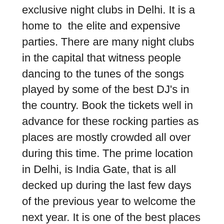exclusive night clubs in Delhi. It is a home to the elite and expensive parties. There are many night clubs in the capital that witness people dancing to the tunes of the songs played by some of the best DJ's in the country. Book the tickets well in advance for these rocking parties as places are mostly crowded all over during this time. The prime location in Delhi, is India Gate, that is all decked up during the last few days of the previous year to welcome the next year. It is one of the best places indeed to celebrate the new year with its bashing parties and wonderful outings in India.
Ooty- Celebrate your New Year in Peace
If you want to celebrate the New Year in peace, far away from the crowded destinations, then this is the perfect destination for you. Come to Ooty!!!. Wel...